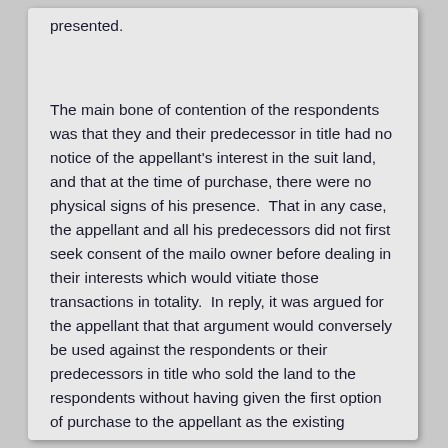presented.
The main bone of contention of the respondents was that they and their predecessor in title had no notice of the appellant's interest in the suit land, and that at the time of purchase, there were no physical signs of his presence.  That in any case, the appellant and all his predecessors did not first seek consent of the mailo owner before dealing in their interests which would vitiate those transactions in totality.  In reply, it was argued for the appellant that that argument would conversely be used against the respondents or their predecessors in title who sold the land to the respondents without having given the first option of purchase to the appellant as the existing occupant. The appellant professes to have